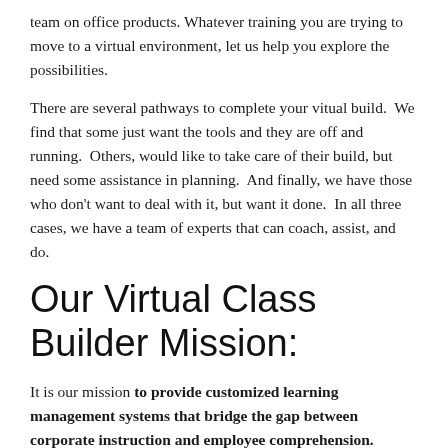team on office products.  Whatever training you are trying to move to a virtual environment, let us help you explore the possibilities.
There are several pathways to complete your vitual build.  We find that some just want the tools and they are off and running.  Others, would like to take care of their build, but need some assistance in planning.  And finally, we have those who don't want to deal with it, but want it done.  In all three cases, we have a team of experts that can coach, assist, and do.
Our Virtual Class Builder Mission:
It is our mission to provide customized learning management systems that bridge the gap between corporate instruction and employee comprehension.